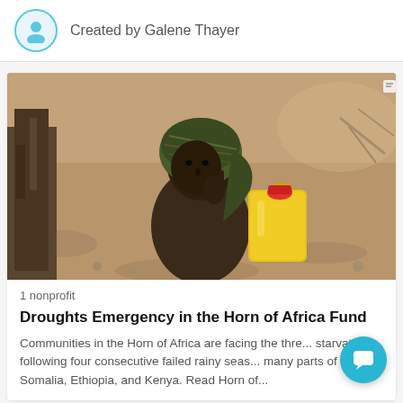Created by Galene Thayer
[Figure (photo): A woman wearing a patterned headscarf in an arid outdoor setting, holding a yellow plastic jerry can. Sparse dry trees and rocky ground visible in background.]
1 nonprofit
Droughts Emergency in the Horn of Africa Fund
Communities in the Horn of Africa are facing the thre... starvation following four consecutive failed rainy seas... many parts of Somalia, Ethiopia, and Kenya. Read Horn of...